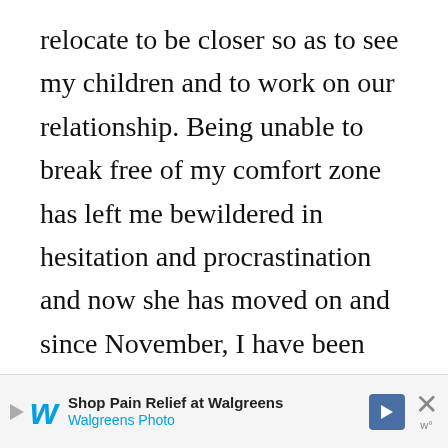relocate to be closer so as to see my children and to work on our relationship. Being unable to break free of my comfort zone has left me bewildered in hesitation and procrastination and now she has moved on and since November, I have been suffering from extreme depression and struggling to face the reality of my situation. I'm not sure why I'm writing all this but it can't hurt…I haven't commented on any blogs for a long time and I guess I just
[Figure (other): Walgreens advertisement banner: 'Shop Pain Relief at Walgreens' with Walgreens Photo logo, navigation arrow icon, and close button]